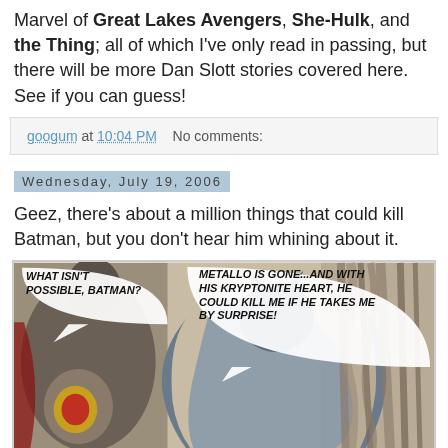Marvel of Great Lakes Avengers, She-Hulk, and the Thing; all of which I've only read in passing, but there will be more Dan Slott stories covered here. See if you can guess!
googum at 10:04 PM   No comments:
Wednesday, July 19, 2006
Geez, there's about a million things that could kill Batman, but you don't hear him whining about it.
[Figure (illustration): Comic panel showing Superman and Batman. Speech bubbles read: 'WHAT ISN'T POSSIBLE, BATMAN?' and 'METALLO IS GONE...AND WITH HIS KRYPTONITE HEART, HE COULD KILL ME IF HE TAKES ME BY SURPRISE!']